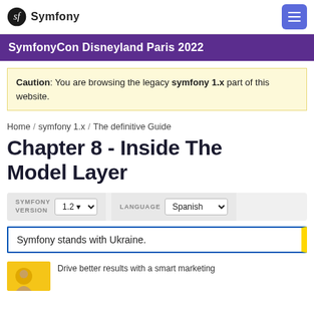Symfony
SymfonyCon Disneyland Paris 2022
Caution: You are browsing the legacy symfony 1.x part of this website.
Home / symfony 1.x / The definitive Guide
Chapter 8 - Inside The Model Layer
SYMFONY VERSION 1.2 LANGUAGE Spanish
Symfony stands with Ukraine.
Drive better results with a smart marketing